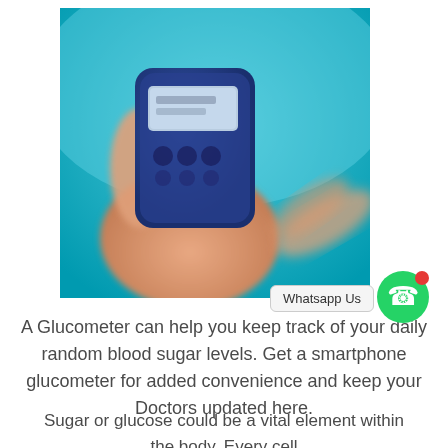[Figure (photo): A hand holding a blue glucometer device against a cyan/teal blue background, with another hand's finger pointing toward it.]
Whatsapp Us
A Glucometer can help you keep track of your daily random blood sugar levels. Get a smartphone glucometer for added convenience and keep your Doctors updated here.
Sugar or glucose could be a vital element within the body. Every cell